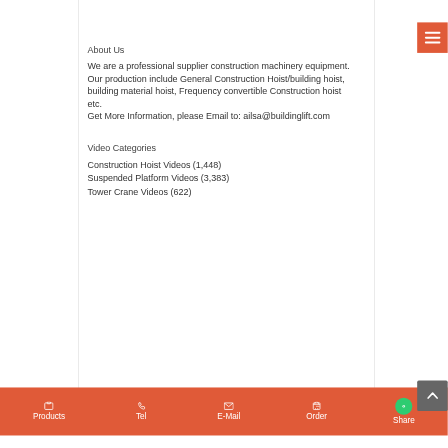About Us
We are a professional supplier construction machinery equipment. Our production include General Construction Hoist/building hoist, building material hoist, Frequency convertible Construction hoist etc.
Get More Information, please Email to: ailsa@buildinglift.com
Video Categories
Construction Hoist Videos (1,448)
Suspended Platform Videos (3,383)
Tower Crane Videos (622)
Products | Tel | E-Mail | Order | Share